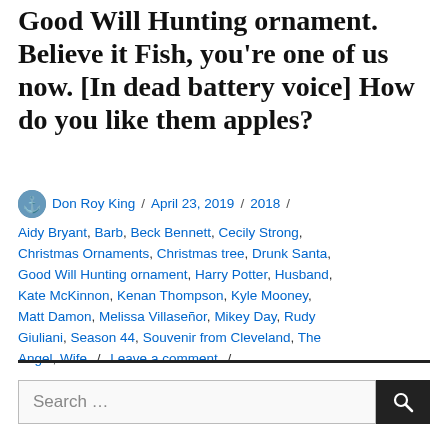Good Will Hunting ornament. Believe it Fish, you're one of us now. [In dead battery voice] How do you like them apples?
Don Roy King / April 23, 2019 / 2018 / Aidy Bryant, Barb, Beck Bennett, Cecily Strong, Christmas Ornaments, Christmas tree, Drunk Santa, Good Will Hunting ornament, Harry Potter, Husband, Kate McKinnon, Kenan Thompson, Kyle Mooney, Matt Damon, Melissa Villaseñor, Mikey Day, Rudy Giuliani, Season 44, Souvenir from Cleveland, The Angel, Wife / Leave a comment /
Search …